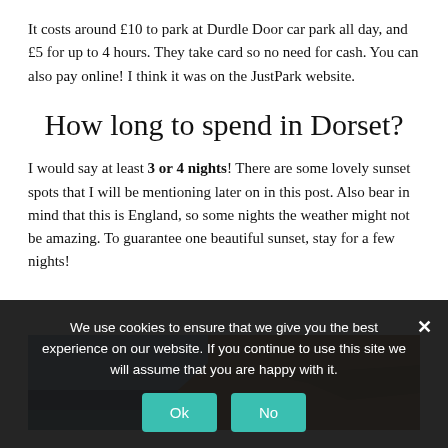It costs around £10 to park at Durdle Door car park all day, and £5 for up to 4 hours. They take card so no need for cash. You can also pay online! I think it was on the JustPark website.
How long to spend in Dorset?
I would say at least 3 or 4 nights! There are some lovely sunset spots that I will be mentioning later on in this post. Also bear in mind that this is England, so some nights the weather might not be amazing. To guarantee one beautiful sunset, stay for a few nights!
[Figure (photo): Partial photo of a rocky coastal cliff in warm brown/orange tones with a blue-grey sky, partially obscured by the cookie consent banner.]
We use cookies to ensure that we give you the best experience on our website. If you continue to use this site we will assume that you are happy with it.